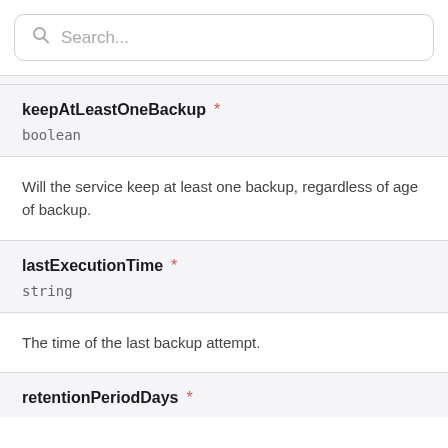[Figure (screenshot): Search input bar with magnifying glass icon and placeholder text 'Search...']
keepAtLeastOneBackup *
boolean
Will the service keep at least one backup, regardless of age of backup.
lastExecutionTime *
string
The time of the last backup attempt.
retentionPeriodDays *